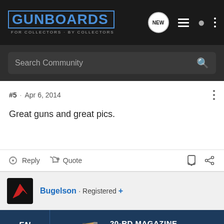GUNBOARDS - FOR COLLECTORS · BY COLLECTORS
Search Community
#5 · Apr 6, 2014
Great guns and great pics.
Reply   Quote
Bugelson · Registered +
[Figure (screenshot): Advertisement banner for FN Five-seveN: 20-RD MAGAZINE MRD-READY | LOW RECOIL]
#6 · Apr